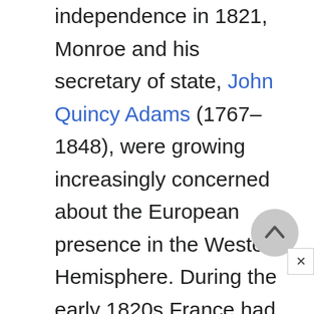independence in 1821, Monroe and his secretary of state, John Quincy Adams (1767–1848), were growing increasingly concerned about the European presence in the Western Hemisphere. During the early 1820s France had briefly installed a king in Mexico—he was a member of the Hapsburg family, an Austrian-based dynasty that had ruled parts of Europe since the late Middle Ages—and England was attempting to exert its influence over Central America. In